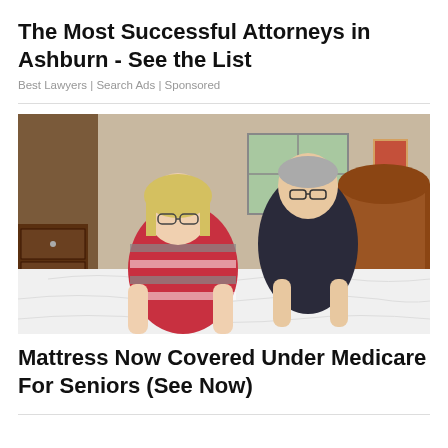The Most Successful Attorneys in Ashburn - See the List
Best Lawyers | Search Ads | Sponsored
[Figure (photo): An older couple in a bedroom leaning over a white mattress on a wooden bed frame. The woman has short blonde hair and glasses, wearing a striped red and black jumper. The man behind her is wearing a dark polo shirt and glasses. The room has a wooden headboard, a chest of drawers to the left, and a window in the background.]
Mattress Now Covered Under Medicare For Seniors (See Now)